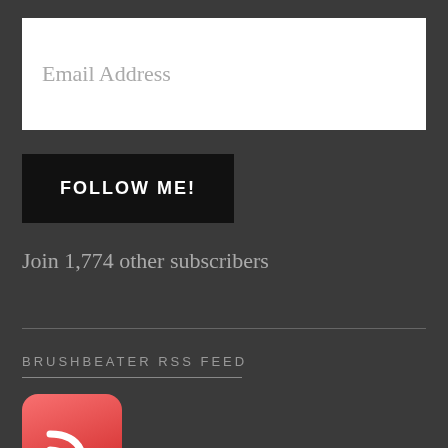Email Address
FOLLOW ME!
Join 1,774 other subscribers
BRUSHBEATER RSS FEED
[Figure (illustration): RSS feed icon — a red rounded-rectangle button with a white WiFi/RSS signal symbol (two arcs and a dot)]